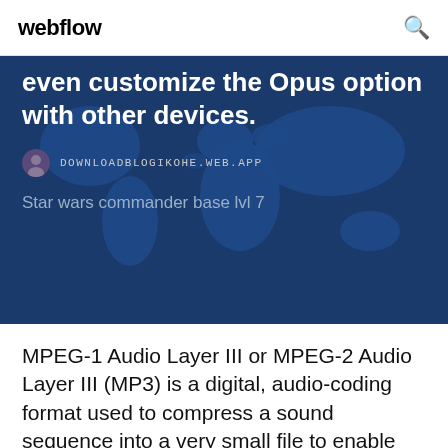webflow
[Figure (illustration): Blue hero banner with world map background illustration]
even customize the Opus option with other devices.
DOWNLOADBLOGIKOHE.WEB.APP
Star wars commander base lvl 7
MPEG-1 Audio Layer III or MPEG-2 Audio Layer III (MP3) is a digital, audio-coding format used to compress a sound sequence into a very small file to enable